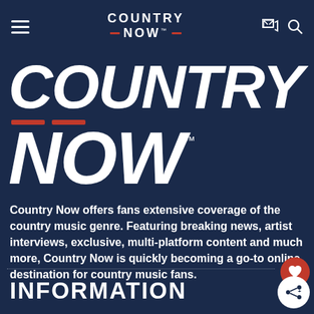Country Now — header navigation bar with hamburger menu, Country Now logo, share icon, and search icon
[Figure (logo): Large Country Now logo in bold white italic text with red dashes on dark navy background]
Country Now offers fans extensive coverage of the country music genre. Featuring breaking news, artist interviews, exclusive, multi-platform content and much more, Country Now is quickly becoming a go-to online destination for country music fans.
INFORMATION